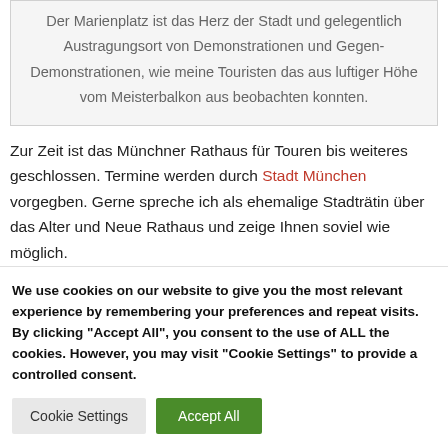Der Marienplatz ist das Herz der Stadt und gelegentlich Austragungsort von Demonstrationen und Gegen-Demonstrationen, wie meine Touristen das aus luftiger Höhe vom Meisterbalkon aus beobachten konnten.
Zur Zeit ist das Münchner Rathaus für Touren bis weiteres geschlossen. Termine werden durch Stadt München vorgegben. Gerne spreche ich als ehemalige Stadträtin über das Alter und Neue Rathaus und zeige Ihnen soviel wie möglich.
We use cookies on our website to give you the most relevant experience by remembering your preferences and repeat visits. By clicking "Accept All", you consent to the use of ALL the cookies. However, you may visit "Cookie Settings" to provide a controlled consent.